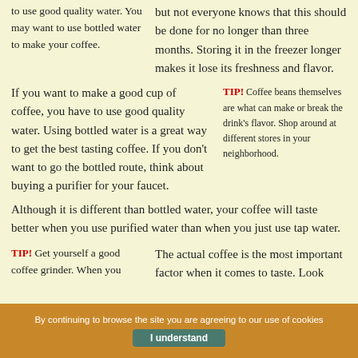to use good quality water. You may want to use bottled water to make your coffee.
but not everyone knows that this should be done for no longer than three months. Storing it in the freezer longer makes it lose its freshness and flavor.
If you want to make a good cup of coffee, you have to use good quality water. Using bottled water is a great way to get the best tasting coffee. If you don't want to go the bottled route, think about buying a purifier for your faucet.
TIP! Coffee beans themselves are what can make or break the drink's flavor. Shop around at different stores in your neighborhood.
Although it is different than bottled water, your coffee will taste better when you use purified water than when you just use tap water.
TIP! Get yourself a good coffee grinder. When you
The actual coffee is the most important factor when it comes to taste. Look
By continuing to browse the site you are agreeing to our use of cookies
I understand